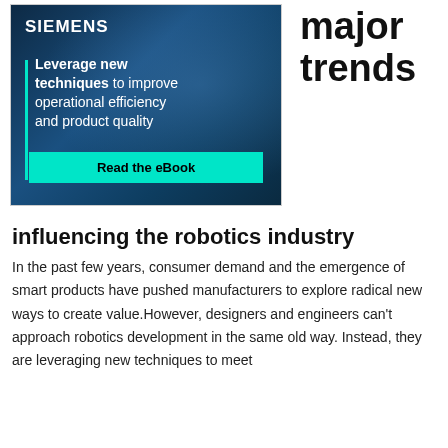[Figure (illustration): Siemens advertisement showing a dark blue background with a robotic/industrial scene. Logo 'SIEMENS' at top left in white. Text reads 'Leverage new techniques to improve operational efficiency and product quality' with a teal vertical bar on the left. A teal 'Read the eBook' button at the bottom.]
major trends
influencing the robotics industry
In the past few years, consumer demand and the emergence of smart products have pushed manufacturers to explore radical new ways to create value.However, designers and engineers can't approach robotics development in the same old way. Instead, they are leveraging new techniques to meet